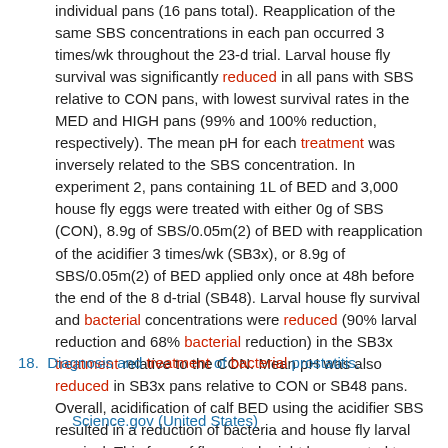individual pans (16 pans total). Reapplication of the same SBS concentrations in each pan occurred 3 times/wk throughout the 23-d trial. Larval house fly survival was significantly reduced in all pans with SBS relative to CON pans, with lowest survival rates in the MED and HIGH pans (99% and 100% reduction, respectively). The mean pH for each treatment was inversely related to the SBS concentration. In experiment 2, pans containing 1L of BED and 3,000 house fly eggs were treated with either 0g of SBS (CON), 8.9g of SBS/0.05m(2) of BED with reapplication of the acidifier 3 times/wk (SB3x), or 8.9g of SBS/0.05m(2) of BED applied only once at 48h before the end of the 8 d-trial (SB48). Larval house fly survival and bacterial concentrations were reduced (90% larval reduction and 68% bacterial reduction) in the SB3x treatment relative to the CON. Mean pH was also reduced in SB3x pans relative to CON or SB48 pans. Overall, acidification of calf BED using the acidifier SBS resulted in a reduction of bacteria and house fly larval survival. This form of fly control might be expected to reduce adult fly production and, therefore, fly-related stress in calves.
18. Diagnosis and treatment of bacterial prostatitis.
Science.gov (United States)